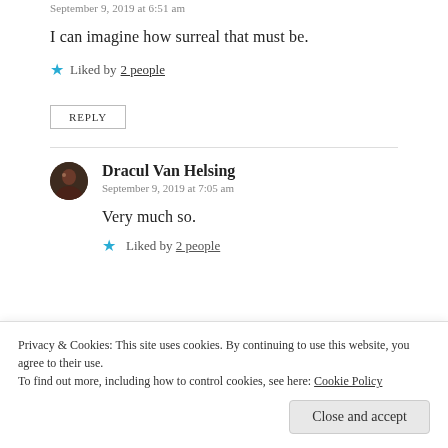September 9, 2019 at 6:51 am
I can imagine how surreal that must be.
★ Liked by 2 people
REPLY
Dracul Van Helsing
September 9, 2019 at 7:05 am
Very much so.
★ Liked by 2 people
Privacy & Cookies: This site uses cookies. By continuing to use this website, you agree to their use. To find out more, including how to control cookies, see here: Cookie Policy
Close and accept